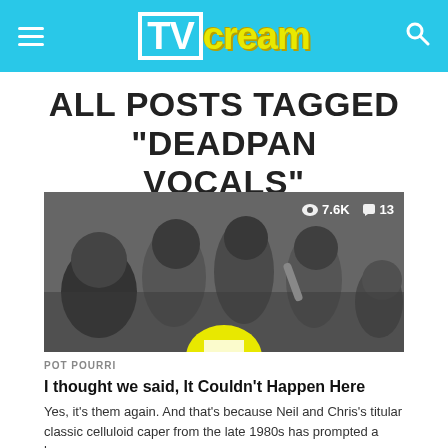TV cream
ALL POSTS TAGGED "DEADPAN VOCALS"
[Figure (photo): Black and white photograph of several young people (teenagers) grouped together looking at something, with a yellow circular badge/logo partially visible at the bottom center. Stats overlay shows 7.6K views and 13 comments.]
POT POURRI
I thought we said, It Couldn't Happen Here
Yes, it's them again. And that's because Neil and Chris's titular classic celluloid caper from the late 1980s has prompted a bumper...